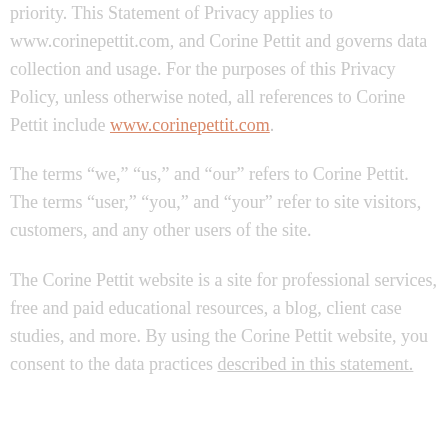priority. This Statement of Privacy applies to www.corinepettit.com, and Corine Pettit and governs data collection and usage. For the purposes of this Privacy Policy, unless otherwise noted, all references to Corine Pettit include www.corinepettit.com.
The terms “we,” “us,” and “our” refers to Corine Pettit. The terms “user,” “you,” and “your” refer to site visitors, customers, and any other users of the site.
The Corine Pettit website is a site for professional services, free and paid educational resources, a blog, client case studies, and more. By using the Corine Pettit website, you consent to the data practices described in this statement.